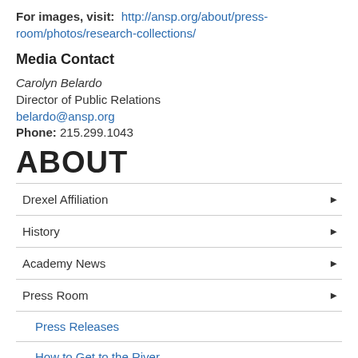For images, visit: http://ansp.org/about/press-room/photos/research-collections/
Media Contact
Carolyn Belardo
Director of Public Relations
belardo@ansp.org
Phone: 215.299.1043
ABOUT
Drexel Affiliation
History
Academy News
Press Room
Press Releases
How to Get to the River
oceanbound-exhibit